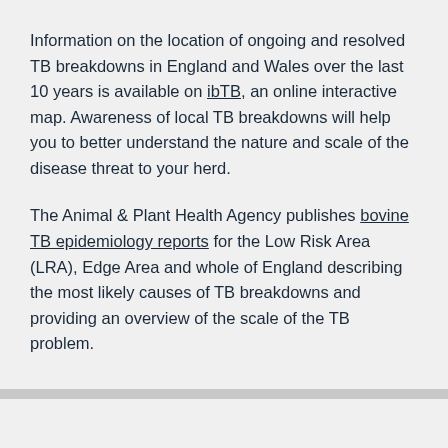Information on the location of ongoing and resolved TB breakdowns in England and Wales over the last 10 years is available on ibTB, an online interactive map. Awareness of local TB breakdowns will help you to better understand the nature and scale of the disease threat to your herd.
The Animal & Plant Health Agency publishes bovine TB epidemiology reports for the Low Risk Area (LRA), Edge Area and whole of England describing the most likely causes of TB breakdowns and providing an overview of the scale of the TB problem.